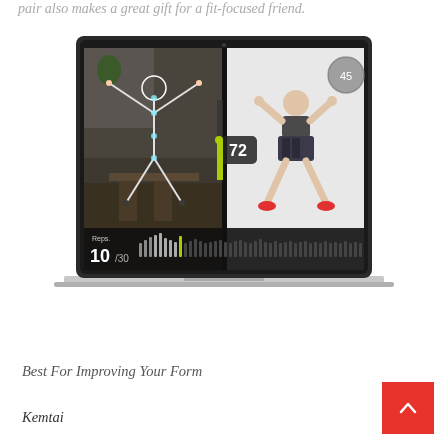pair also makes a great gift for a fit-focused friend.
[Figure (screenshot): A laptop screen showing a fitness app with split-screen view: left side shows a person doing jumping jacks in a kitchen with skeletal tracking overlay, right side shows a 3D avatar doing the same exercise. Score indicator showing 72, timer showing 45, and rep counter showing 10/30 with a bar progress indicator.]
Best For Improving Your Form
Kemtai